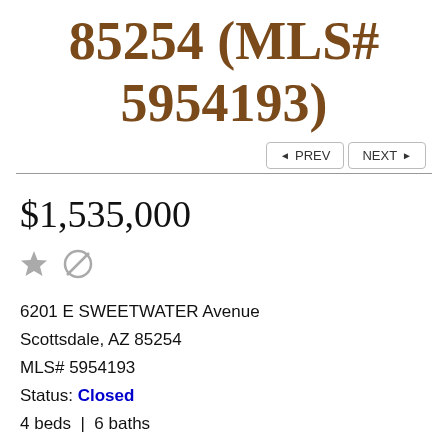85254 (MLS# 5954193)
PREV  NEXT
$1,535,000
6201 E SWEETWATER Avenue
Scottsdale, AZ 85254
MLS# 5954193
Status: Closed
4 beds  |  6 baths
PRINT